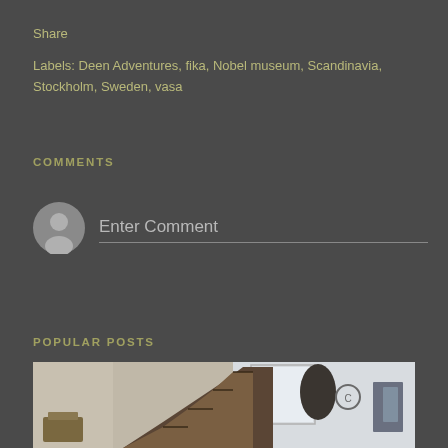Share
Labels: Deen Adventures, fika, Nobel museum, Scandinavia, Stockholm, Sweden, vasa
COMMENTS
Enter Comment
POPULAR POSTS
[Figure (photo): Interior room scene showing a staircase, window with light, and various objects in a room]